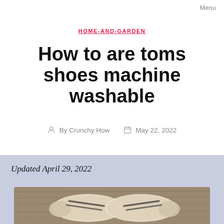Menu
HOME-AND-GARDEN
How to are toms shoes machine washable
By Crunchy How   May 22, 2022
Updated April 29, 2022
[Figure (photo): A pair of TOMS slip-on canvas shoes placed on a rustic wooden surface, photographed from above.]